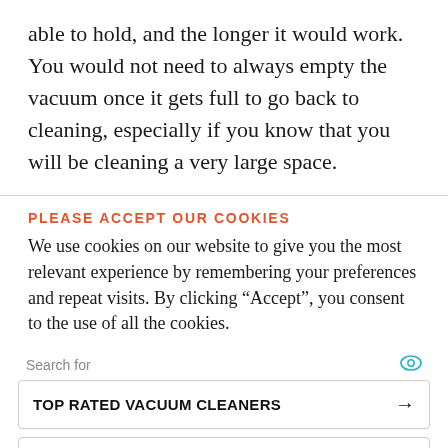able to hold, and the longer it would work. You would not need to always empty the vacuum once it gets full to go back to cleaning, especially if you know that you will be cleaning a very large space.
PLEASE ACCEPT OUR COOKIES
We use cookies on our website to give you the most relevant experience by remembering your preferences and repeat visits. By clicking “Accept”, you consent to the use of all the cookies.
Search for
TOP RATED VACUUM CLEANERS →
BEST DEALS ON ROBOT VACUUM →
Ad | Business Focus